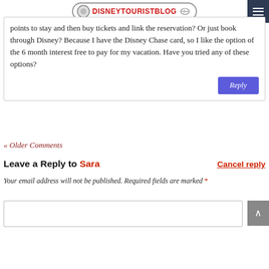DISNEYTOURISTBLOG
points to stay and then buy tickets and link the reservation? Or just book through Disney? Because I have the Disney Chase card, so I like the option of the 6 month interest free to pay for my vacation. Have you tried any of these options?
« Older Comments
Leave a Reply to Sara
Cancel reply
Your email address will not be published. Required fields are marked *